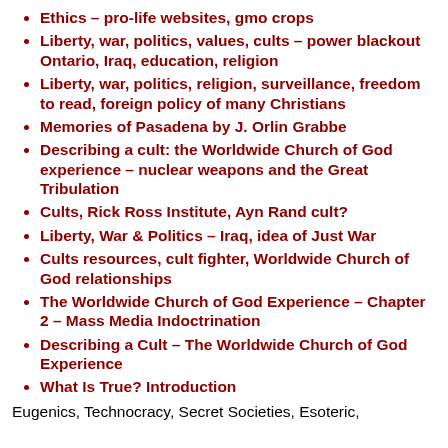Ethics – pro-life websites, gmo crops
Liberty, war, politics, values, cults – power blackout Ontario, Iraq, education, religion
Liberty, war, politics, religion, surveillance, freedom to read, foreign policy of many Christians
Memories of Pasadena by J. Orlin Grabbe
Describing a cult: the Worldwide Church of God experience – nuclear weapons and the Great Tribulation
Cults, Rick Ross Institute, Ayn Rand cult?
Liberty, War & Politics – Iraq, idea of Just War
Cults resources, cult fighter, Worldwide Church of God relationships
The Worldwide Church of God Experience – Chapter 2 – Mass Media Indoctrination
Describing a Cult – The Worldwide Church of God Experience
What Is True? Introduction
Eugenics, Technocracy, Secret Societies, Esoteric,